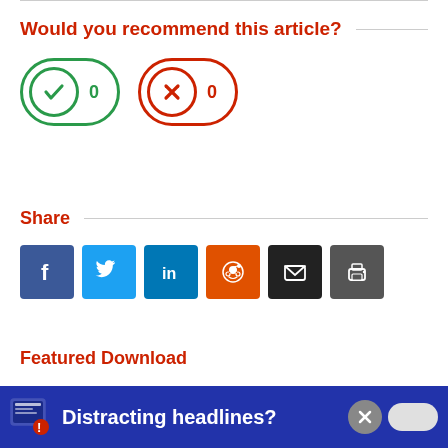Would you recommend this article?
[Figure (infographic): Two vote buttons: a green checkmark button with count '0' and a red X button with count '0']
Share
[Figure (infographic): Six social share buttons: Facebook (blue), Twitter (light blue), LinkedIn (dark blue), Reddit (orange), Email (black), Print (dark gray)]
Featured Download
[Figure (infographic): Blue banner bar with icon and text 'Distracting headlines?' with a close button]